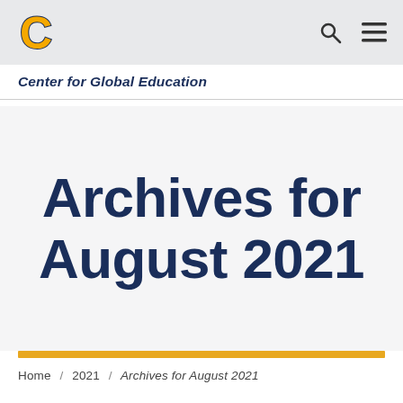[Figure (logo): UTC gold letter C logo with navy border on gray navigation bar background]
Center for Global Education
Archives for August 2021
Home / 2021 / Archives for August 2021